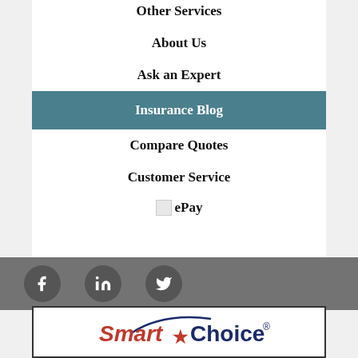Other Services
About Us
Ask an Expert
Insurance Blog
Compare Quotes
Customer Service
ePay
[Figure (logo): Social media icons: Facebook, LinkedIn, Twitter on grey bar]
[Figure (logo): Smart Choice logo with red star and italic Smart text]